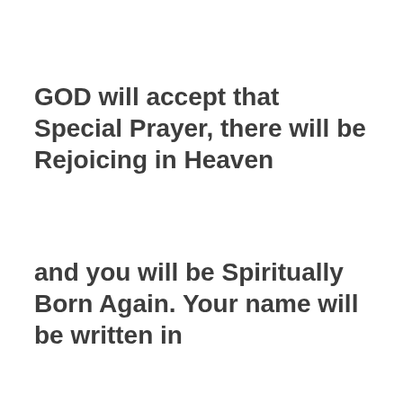GOD will accept that Special Prayer, there will be Rejoicing in Heaven
and you will be Spiritually Born Again. Your name will be written in